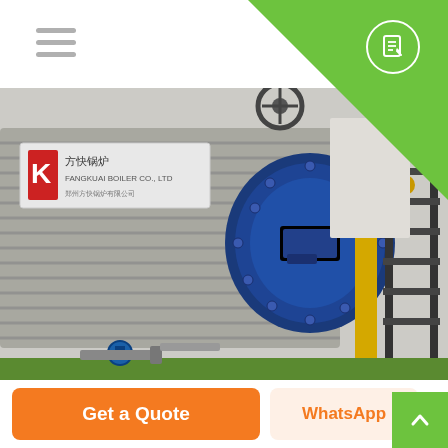Navigation header with hamburger menu and document icon
[Figure (photo): Industrial gas boiler equipment photo showing a large cylindrical blue burner/furnace unit attached to a corrugated metal boiler body with Chinese manufacturer signage, yellow gas pipes, and a metal staircase structure in an industrial facility.]
Manufacturers 2 Ton Gas
Get a Quote | WhatsApp